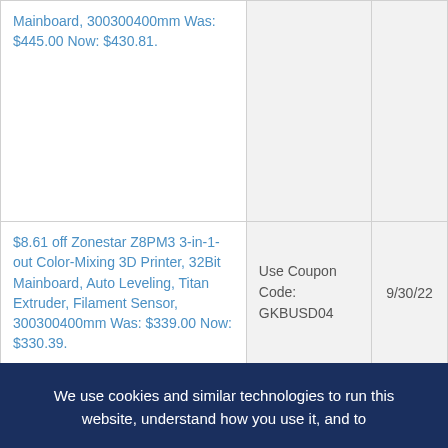| Deal | Code/Method | Expires |
| --- | --- | --- |
| Mainboard, 300300400mm Was: $445.00 Now: $430.81. |  |  |
| $8.61 off Zonestar Z8PM3 3-in-1-out Color-Mixing 3D Printer, 32Bit Mainboard, Auto Leveling, Titan Extruder, Filament Sensor, 300300400mm Was: $339.00 Now: $330.39. | Use Coupon Code: GKBUSD04 | 9/30/22 |
| $15.62 off LaserPecker 2 Pro Handheld Laser Engraver Cutter with ... | Use Coupon Code: | 9/30/22 |
We use cookies and similar technologies to run this website, understand how you use it, and to